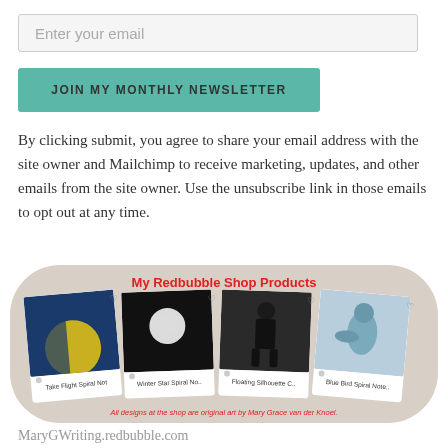Enter your email
JOIN MY MONTHLY NEWSLETTER
By clicking submit, you agree to share your email address with the site owner and Mailchimp to receive marketing, updates, and other emails from the site owner. Use the unsubscribe link in those emails to opt out at any time.
[Figure (illustration): Redbubble shop products promotional block with four product cards (Take Flight Spiral Not, Winter Star Spiral No., Floating Silhouette C., Blue Bird Spiral Note.) on a beige rounded background with red title 'My Redbubble Shop Products' and red attribution text 'All designs at the shop are original art by Mary Grace van der Knoel.']
MaryGWriting.redbubble.com